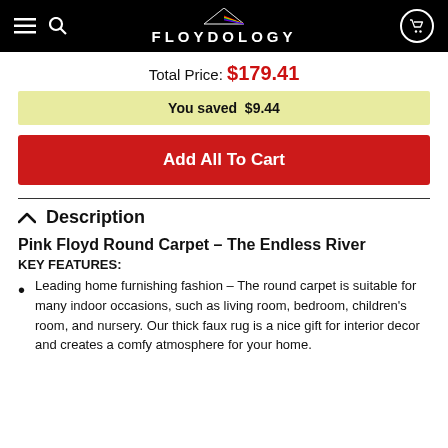FLOYDOLOGY
Total Price: $179.41
You saved $9.44
Add All To Cart
Description
Pink Floyd Round Carpet – The Endless River
KEY FEATURES:
Leading home furnishing fashion – The round carpet is suitable for many indoor occasions, such as living room, bedroom, children's room, and nursery. Our thick faux rug is a nice gift for interior decor and creates a comfy atmosphere for your home.